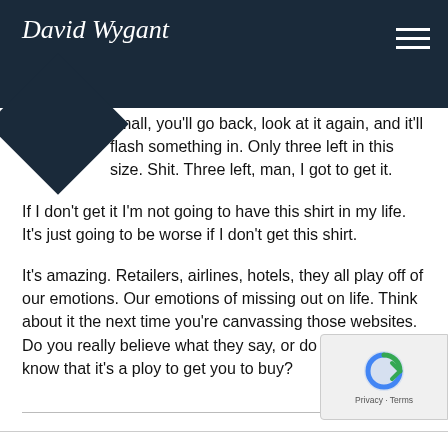David Wygant
small, you'll go back, look at it again, and it'll flash something in. Only three left in this size. Shit. Three left, man, I got to get it.
If I don't get it I'm not going to have this shirt in my life. It's just going to be worse if I don't get this shirt.
It's amazing. Retailers, airlines, hotels, they all play off of our emotions. Our emotions of missing out on life. Think about it the next time you're canvassing those websites. Do you really believe what they say, or do you really now know that it's a ploy to get you to buy?
Nowadays, dating is more competitive than it's ever been – download this free report to learn 6 proven ways to stand apart & succeed in the modern dating world.